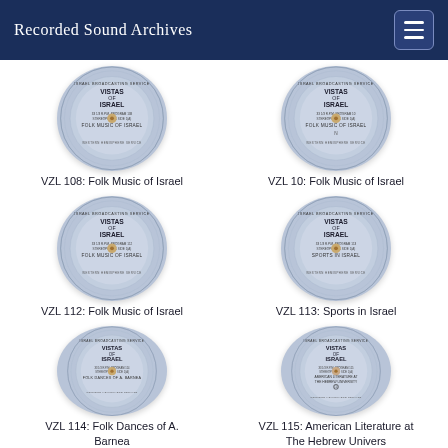Recorded Sound Archives
[Figure (photo): Vinyl record disc label: Vistas of Israel, Folk Music of Israel]
VZL 108: Folk Music of Israel
[Figure (photo): Vinyl record disc label: Vistas of Israel, Folk Music of Israel]
VZL 10: Folk Music of Israel
[Figure (photo): Vinyl record disc label: Vistas of Israel, Folk Music of Israel]
VZL 112: Folk Music of Israel
[Figure (photo): Vinyl record disc label: Vistas of Israel, Sports in Israel]
VZL 113: Sports in Israel
[Figure (photo): Vinyl record disc label: Vistas of Israel, Folk Dances of A. Barnea]
VZL 114: Folk Dances of A. Barnea
[Figure (photo): Vinyl record disc label: Vistas of Israel, American Literature at The Hebrew University]
VZL 115: American Literature at The Hebrew Univers